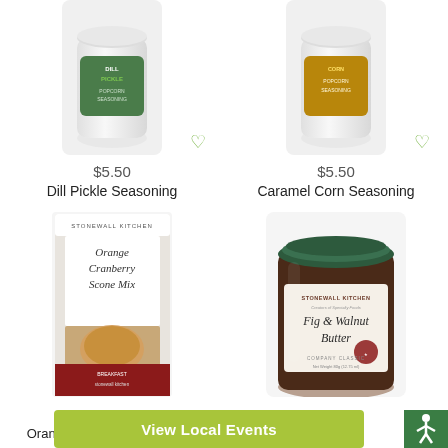[Figure (photo): Dill Pickle Popcorn Seasoning product — white cylindrical container with green label]
$5.50
Dill Pickle Seasoning
[Figure (photo): Caramel Corn Popcorn Seasoning product — white cylindrical container with yellow/gold label]
$5.50
Caramel Corn Seasoning
[Figure (photo): Stonewall Kitchen Orange Cranberry Scone Mix box with image of scones]
$10.50
Orange Cranberry Scone M...
[Figure (photo): Stonewall Kitchen Fig & Walnut Butter jar with dark green lid]
$8.95
...Butter
View Local Events